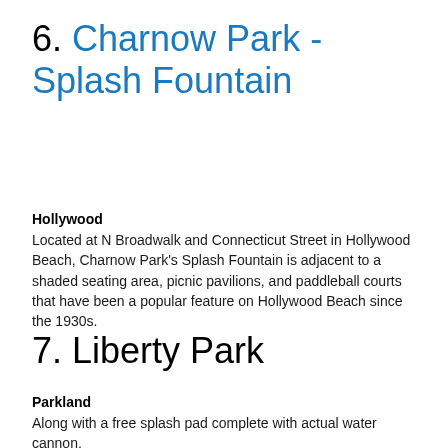6. Charnow Park - Splash Fountain
Hollywood
Located at N Broadwalk and Connecticut Street in Hollywood Beach, Charnow Park's Splash Fountain is adjacent to a shaded seating area, picnic pavilions, and paddleball courts that have been a popular feature on Hollywood Beach since the 1930s.
7. Liberty Park
Parkland
Along with a free splash pad complete with actual water cannon,